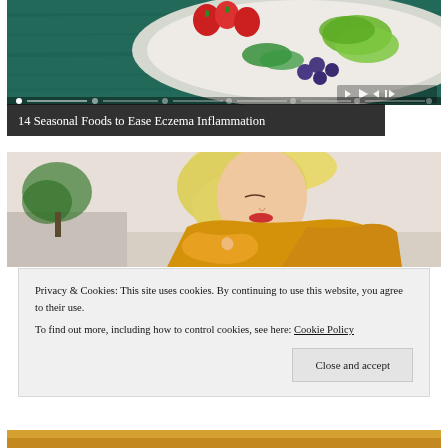[Figure (photo): Overhead view of a colorful plate of seasonal foods including strawberries, blueberries, green vegetables, and herbs on a dark teal wooden surface, with media player controls overlay]
14 Seasonal Foods to Ease Eczema Inflammation
[Figure (photo): A blonde woman in a yellow knit sweater scratching or examining her arm, suggesting eczema or skin irritation]
Privacy & Cookies: This site uses cookies. By continuing to use this website, you agree to their use.
To find out more, including how to control cookies, see here: Cookie Policy
Close and accept